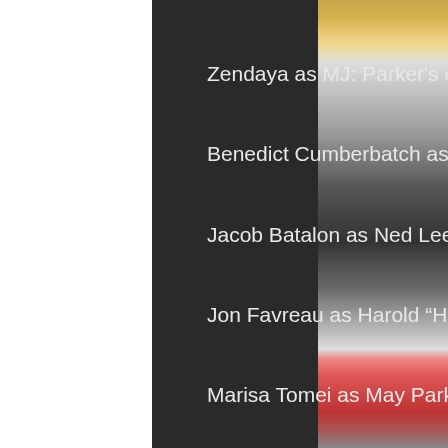Zendaya as MJ: Parker's classmate and girlfriend
Benedict Cumberbatch as Dr. Stephen Strange
Jacob Batalon as Ned Leeds
Jon Favreau as Harold “Happy” Hogan
Marisa Tomei as May Parker
J. B. Smoove as Julius Dell